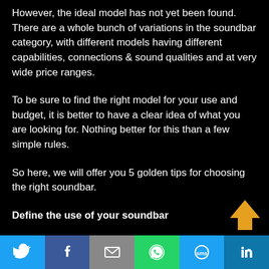However, the ideal model has not yet been found. There are a whole bunch of variations in the soundbar category, with different models having different capabilities, connections & sound qualities and at very wide price ranges.
To be sure to find the right model for your use and budget, it is better to have a clear idea of what you are looking for. Nothing better for this than a few simple rules.
So here, we will offer you 5 golden tips for choosing the right soundbar.
Define the use of your soundbar
Living room hi-fi systems are increasingly used in a multi-functional way. TV, gaming console, streaming devices, etc.
[Figure (other): Social media share bar with Twitter, Facebook, Email, WhatsApp, SMS, and LinkedIn buttons]